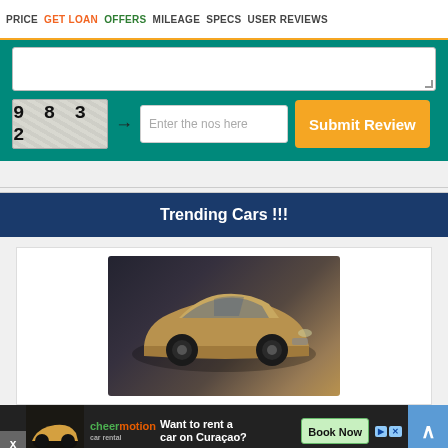PRICE | GET LOAN | OFFERS | MILEAGE | SPECS | USER REVIEWS
[Figure (screenshot): Web form section with teal background, showing a textarea for review input, a CAPTCHA image showing '9 8 3 2', an arrow, a text input field labeled 'Enter the nos here', and an orange 'Submit Review' button.]
Trending Cars !!!
[Figure (photo): Photo of a Tata Nexon SUV in golden/bronze color on dark background, three-quarter front view.]
[Figure (screenshot): Advertisement banner: CheerMotion car rental ad with text 'Want to rent a car on Curaçao?' and 'Book Now' button. Also shows scroll-to-top button on the right side.]